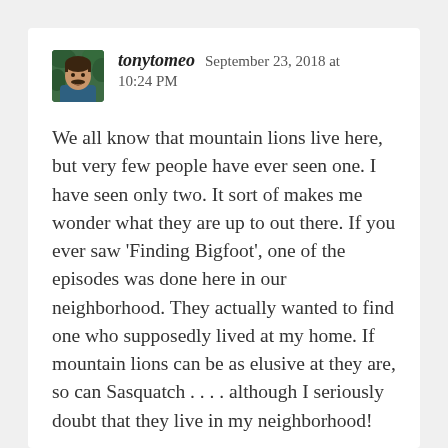[Figure (photo): Small square avatar photo of a man with a mustache wearing a blue shirt, with a green/outdoor background]
tonytomeo   September 23, 2018 at 10:24 PM
We all know that mountain lions live here, but very few people have ever seen one. I have seen only two. It sort of makes me wonder what they are up to out there. If you ever saw ‘Finding Bigfoot’, one of the episodes was done here in our neighborhood. They actually wanted to find one who supposedly lived at my home. If mountain lions can be as elusive at they are, so can Sasquatch . . . . although I seriously doubt that they live in my neighborhood!